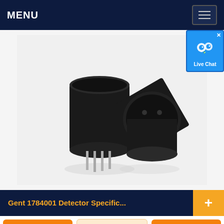MENU
[Figure (photo): Two black cylindrical gas detector sensors. Left one standing upright showing metal pin leads on the bottom. Right one tilted showing a flat face with four small holes arranged in a pattern. Both on white/light gray background.]
Gent 1784001 Detector Specific...
Get a Quote
WhatsApp
Chat Now